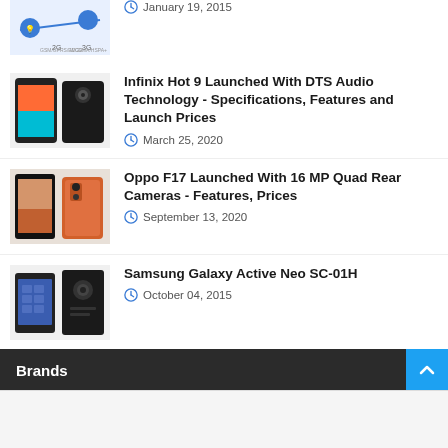[Figure (photo): Partial article thumbnail showing mobile network technology diagram with 2G and 3G labels]
January 19, 2015
[Figure (photo): Two smartphones side by side - colorful front display and black Infinix phone back]
Infinix Hot 9 Launched With DTS Audio Technology - Specifications, Features and Launch Prices
March 25, 2020
[Figure (photo): Two Oppo phones - one showing a nature wallpaper, one showing orange/copper back]
Oppo F17 Launched With 16 MP Quad Rear Cameras - Features, Prices
September 13, 2020
[Figure (photo): Two Samsung Galaxy Active Neo SC-01H phones side by side]
Samsung Galaxy Active Neo SC-01H
October 04, 2015
Brands